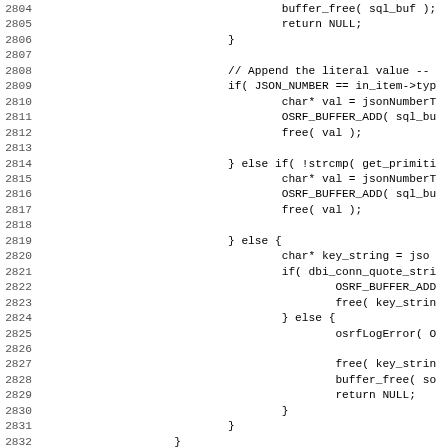[Figure (screenshot): Source code listing in C, lines 2804-2835, showing code for appending literal values including JSON number checks, buffer operations, key string handling, and error logging with osrfLogError and buffer_free calls.]